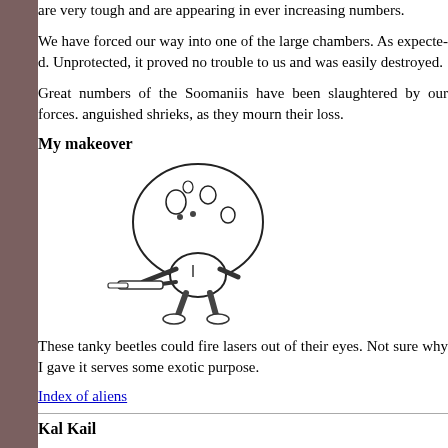are very tough and are appearing in ever increasing numbers.
We have forced our way into one of the large chambers. As expected. Unprotected, it proved no trouble to us and was easily destroyed.
Great numbers of the Soomaniis have been slaughtered by our forces. anguished shrieks, as they mourn their loss.
My makeover
[Figure (illustration): A cartoon/sketch of a round-headed alien beetle creature with a large domed spotted head, small eyes, stubby limbs, and holding a weapon/gun, drawn in black and white ink style.]
These tanky beetles could fire lasers out of their eyes. Not sure why I gave it serves some exotic purpose.
Index of aliens
Kal Kail...